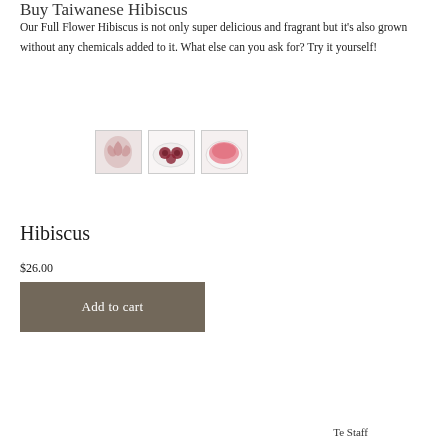Buy Taiwanese Hibiscus
Our Full Flower Hibiscus is not only super delicious and fragrant but it's also grown without any chemicals added to it. What else can you ask for? Try it yourself!
[Figure (photo): Three thumbnail images of hibiscus product: dried hibiscus flower, hibiscus flowers on a plate, and pink hibiscus tea in a bowl]
Hibiscus
$26.00
Add to cart
Te Staff